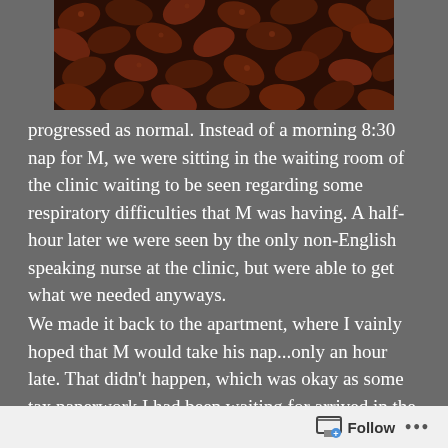[Figure (photo): Close-up photo of dark brown coffee beans or similar beans filling the frame]
progressed as normal.  Instead of a morning 8:30 nap for M, we were sitting in the waiting room of the clinic waiting to be seen regarding some respiratory difficulties that M was having.  A half-hour later we were seen by the only non-English speaking nurse at the clinic, but were able to get what we needed anyways.
We made it back to the apartment, where I vainly hoped that M would take his nap...only an hour late.  That didn't happen, which was okay as some tax paperwork I had been waiting for arrived in the mail.  Unfortunately, all official paperwork is in Swedish, so there was no chance in filling it out myself.  Bundle M back up and head back to the same office building we were at for the
Follow ...